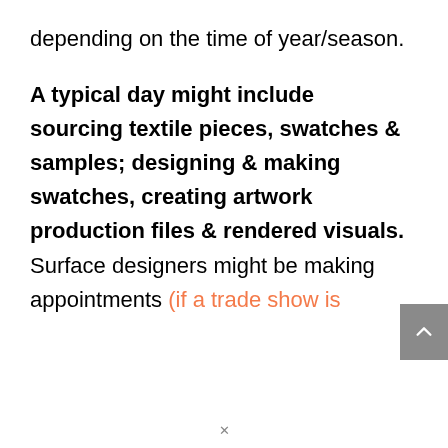depending on the time of year/season. A typical day might include sourcing textile pieces, swatches & samples; designing & making swatches, creating artwork production files & rendered visuals. Surface designers might be making appointments (if a trade show is